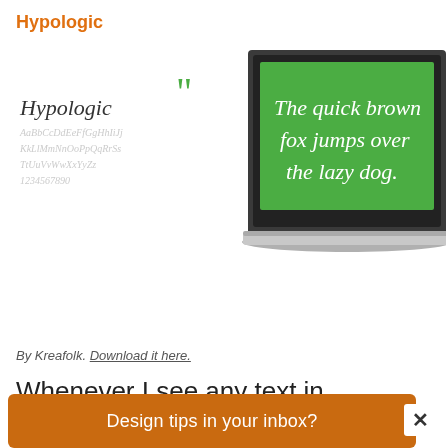Hypologic
[Figure (illustration): Font specimen showing 'Hypologic' in script handwriting font with alphabet characters and numbers in light gray, plus a laptop mockup with dark bezel showing green screen with white handwritten text 'The quick brown fox jumps over the lazy dog.' and green quotation marks to the left.]
By Kreafolk. Download it here.
Whenever I see any text in Hypologic, I imagine it lit up in neon. It’s versatile, contemporary and aching to add edge to
Design tips in your inbox?